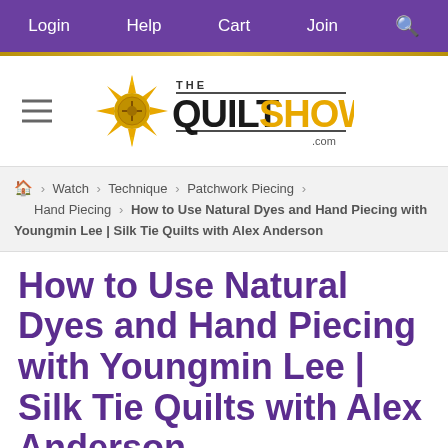Login  Help  Cart  Join  🔍
[Figure (logo): The Quilt Show .com logo with sun/star icon in gold and black text]
🏠 > Watch > Technique > Patchwork Piecing > Hand Piecing > How to Use Natural Dyes and Hand Piecing with Youngmin Lee | Silk Tie Quilts with Alex Anderson
How to Use Natural Dyes and Hand Piecing with Youngmin Lee | Silk Tie Quilts with Alex Anderson